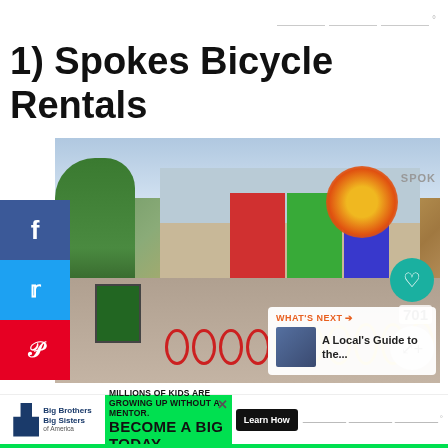1) Spokes Bicycle Rentals
[Figure (photo): Street-level photo of Spokes Bicycle Rentals storefront with colorful window panels, a sun logo, and rows of rental bicycles (red, yellow, blue) lined up on the sidewalk in front. Trees visible on left. Heart icon showing 701 likes and share button overlaid on right side. 'What's Next' overlay in lower right showing A Local's Guide to the...]
Spokes is one of the best bike rentals in downtown
MILLIONS OF KIDS ARE GROWING UP WITHOUT A MENTOR. BECOME A BIG TODAY. Learn How